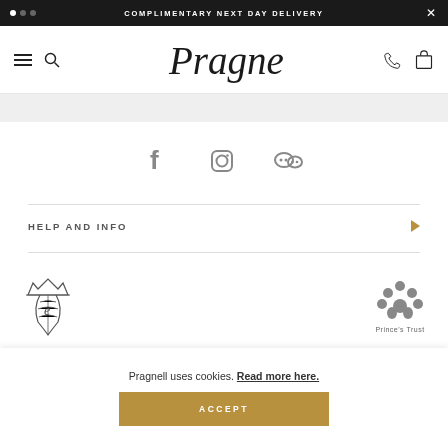COMPLIMENTARY NEXT DAY DELIVERY
[Figure (logo): Pragnell logo in cursive script]
[Figure (infographic): Social media icons: Facebook, Instagram, WeChat]
HELP AND INFO
[Figure (logo): Queen's Award for Enterprise logo and Prince's Trust logo]
Pragnell uses cookies. Read more here.
ACCEPT